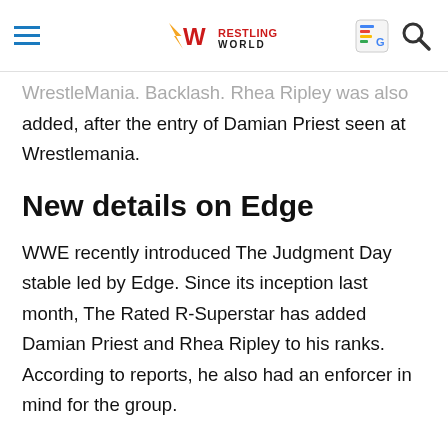Wrestling World
WrestleMania. Backlash. Rhea Ripley was also added, after the entry of Damian Priest seen at Wrestlemania.
New details on Edge
WWE recently introduced The Judgment Day stable led by Edge. Since its inception last month, The Rated R-Superstar has added Damian Priest and Rhea Ripley to his ranks. According to reports, he also had an enforcer in mind for the group.